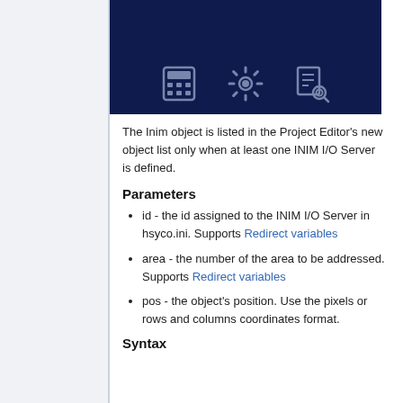[Figure (illustration): Dark navy banner with three icons: a calculator, a gear/settings icon, and a document search icon.]
The Inim object is listed in the Project Editor's new object list only when at least one INIM I/O Server is defined.
Parameters
id - the id assigned to the INIM I/O Server in hsyco.ini. Supports Redirect variables
area - the number of the area to be addressed. Supports Redirect variables
pos - the object's position. Use the pixels or rows and columns coordinates format.
Syntax